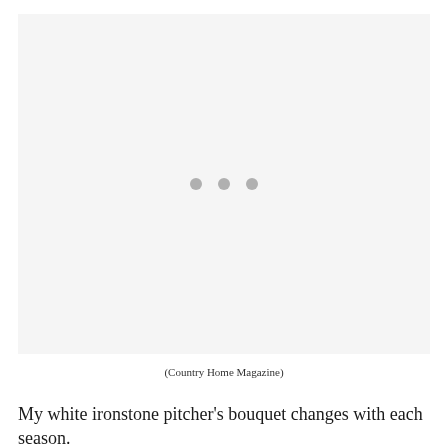[Figure (photo): Large photo placeholder area with light gray background and three gray loading dots in the center, indicating an image from Country Home Magazine]
(Country Home Magazine)
My white ironstone pitcher's bouquet changes with each season.